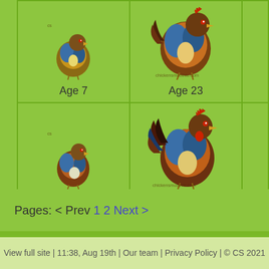[Figure (illustration): Small chick bird illustration with 'cs' watermark, colorful blue/brown plumage, Age 7]
Age 7
[Figure (illustration): Large adult bird illustration with 'chickensmoothie.com' watermark, colorful blue/brown plumage, Age 23]
Age 23
[Figure (illustration): Small chick bird illustration with 'cs' watermark, colorful blue/brown/white plumage, Age 9]
Age 9
[Figure (illustration): Large adult rooster illustration with 'chickensmoothie.com' watermark, colorful blue/brown/orange plumage, Age 27]
Age 27
Pages: < Prev 1 2 Next >
View full site | 11:38, Aug 19th | Our team | Privacy Policy | © CS 2021